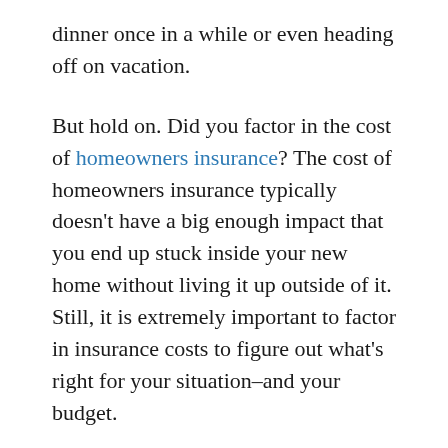dinner once in a while or even heading off on vacation.
But hold on. Did you factor in the cost of homeowners insurance? The cost of homeowners insurance typically doesn't have a big enough impact that you end up stuck inside your new home without living it up outside of it. Still, it is extremely important to factor in insurance costs to figure out what's right for your situation–and your budget.
Of course, lenders almost always require homeowners insurance before signing off on the loan. And even if you're fortunate enough to not need a loan, you'll need good insurance to